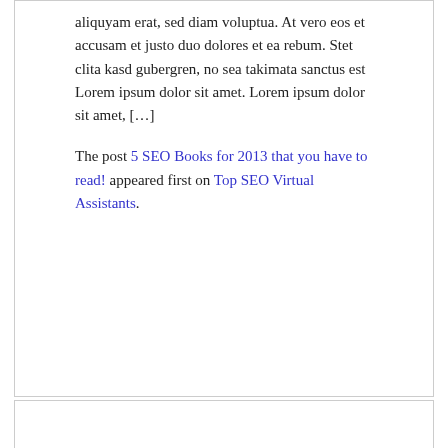aliquyam erat, sed diam voluptua. At vero eos et accusam et justo duo dolores et ea rebum. Stet clita kasd gubergren, no sea takimata sanctus est Lorem ipsum dolor sit amet. Lorem ipsum dolor sit amet, […]
The post 5 SEO Books for 2013 that you have to read! appeared first on Top SEO Virtual Assistants.